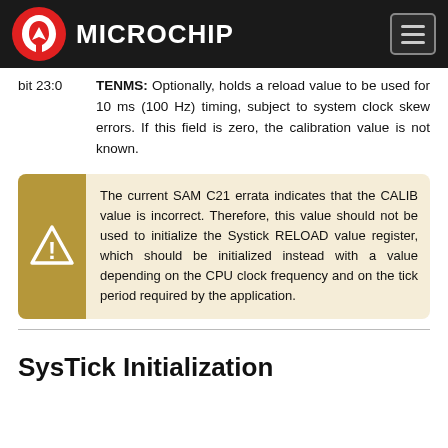Microchip
bit 23:0   TENMS: Optionally, holds a reload value to be used for 10 ms (100 Hz) timing, subject to system clock skew errors. If this field is zero, the calibration value is not known.
The current SAM C21 errata indicates that the CALIB value is incorrect. Therefore, this value should not be used to initialize the Systick RELOAD value register, which should be initialized instead with a value depending on the CPU clock frequency and on the tick period required by the application.
SysTick Initialization